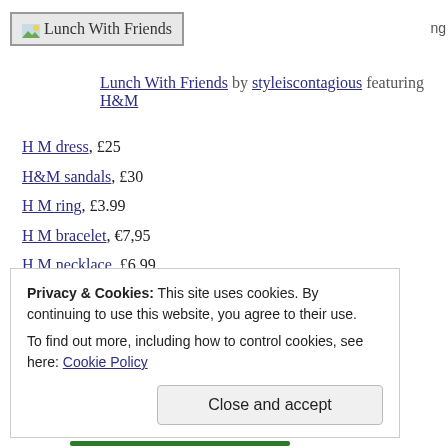[Figure (logo): Lunch With Friends logo box with small image icon and text]
Lunch With Friends by styleiscontagious featuring H&M
H M dress, £25
H&M sandals, £30
H M ring, £3.99
H M bracelet, €7,95
H M necklace, £6.99
H&M sunglasses, £3.99
Tags: accessories, aviators
Privacy & Cookies: This site uses cookies. By continuing to use this website, you agree to their use. To find out more, including how to control cookies, see here: Cookie Policy